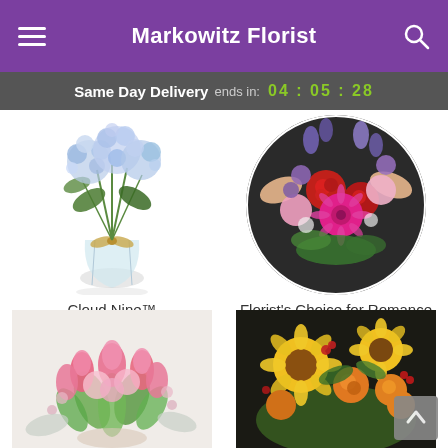Markowitz Florist
Same Day Delivery ends in: 04 : 05 : 28
[Figure (photo): Cloud Nine flower bouquet - blue hydrangeas in a glass vase with raffia tie]
Cloud Nine™
From $54.95
[Figure (photo): Florist's Choice for Romance - mixed colorful flowers including roses and gerberas held by florist]
Florist's Choice for Romance
From $59.95
[Figure (photo): Pink tulips and roses bouquet arrangement]
[Figure (photo): Sunflowers and orange roses autumn bouquet]